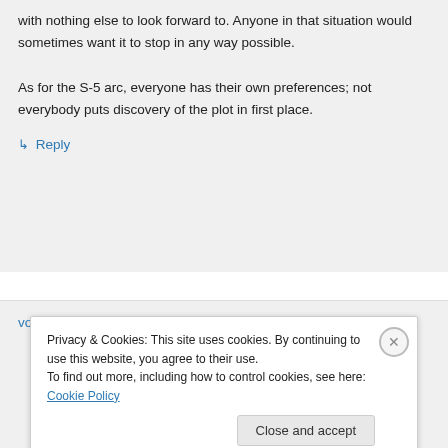with nothing else to look forward to. Anyone in that situation would sometimes want it to stop in any way possible.

As for the S-5 arc, everyone has their own preferences; not everybody puts discovery of the plot in first place.
↳ Reply
voluntarymanslaughter on July 27, 2010 at
Privacy & Cookies: This site uses cookies. By continuing to use this website, you agree to their use.
To find out more, including how to control cookies, see here: Cookie Policy
Close and accept